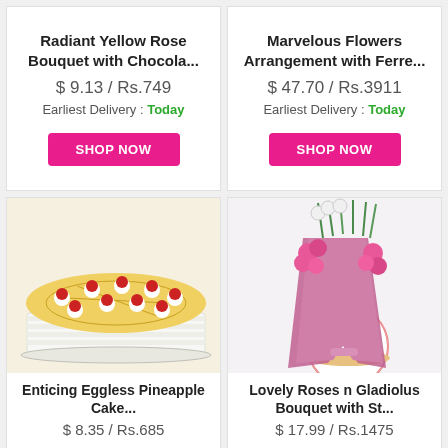Radiant Yellow Rose Bouquet with Chocola...
$ 9.13 / Rs.749
Earliest Delivery : Today
SHOP NOW
Marvelous Flowers Arrangement with Ferre...
$ 47.70 / Rs.3911
Earliest Delivery : Today
SHOP NOW
[Figure (photo): Enticing Eggless Pineapple Cake with cherries on top]
Enticing Eggless Pineapple Cake...
$ 8.35 / Rs.685
[Figure (photo): Lovely Roses n Gladiolus Bouquet with a white cake]
Lovely Roses n Gladiolus Bouquet with St...
$ 17.99 / Rs.1475